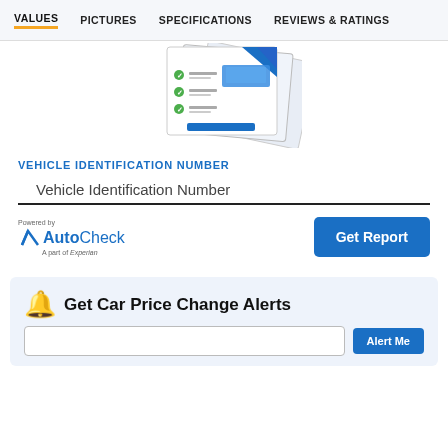VALUES  PICTURES  SPECIFICATIONS  REVIEWS & RATINGS
[Figure (illustration): Stacked AutoCheck vehicle history report pages illustration showing sample report content with green checkmarks and car image]
VEHICLE IDENTIFICATION NUMBER
Vehicle Identification Number
[Figure (logo): AutoCheck logo - powered by Experian, with blue checkmark]
Get Report
Get Car Price Change Alerts